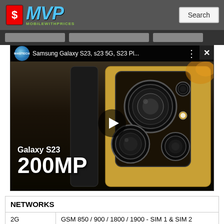MVP MobileWithPrices
[Figure (screenshot): YouTube video thumbnail showing Samsung Galaxy S23 with 200MP camera text overlay and play button, title: Samsung Galaxy S23, s23 5G, S23 Pl...]
| NETWORKS |  |
| --- | --- |
| 2G | GSM 850 / 900 / 1800 / 1900 - SIM 1 & SIM 2 |
| 3G | HSDPA 850 / 900 / 1900 / 2100 |
| 4G | LTE band 1(2100), 3(1800), 5(850), 7(2600), |